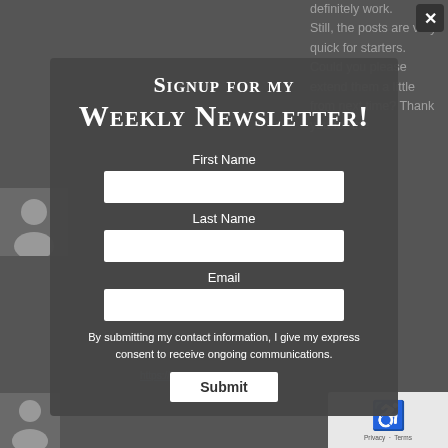definitely work. Still, the posts are very quick for starters. Could you please extend them a little from next time? Thank you for the
Signup for my Weekly Newsletter!
First Name
Last Name
Email
By submitting my contact information, I give my express consent to receive ongoing communications.
Submit
MAY 3, 2022 AT 1:40:12 AM
https://ivermcox.com/